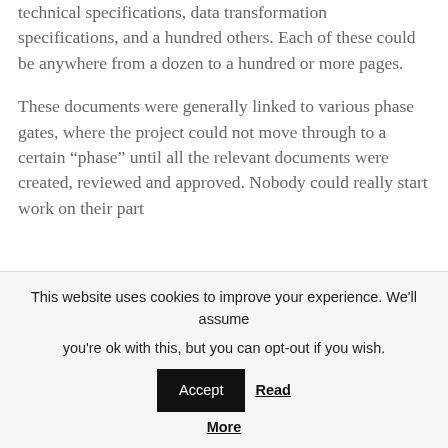technical specifications, data transformation specifications, and a hundred others. Each of these could be anywhere from a dozen to a hundred or more pages.
These documents were generally linked to various phase gates, where the project could not move through to a certain “phase” until all the relevant documents were created, reviewed and approved. Nobody could really start work on their part
This website uses cookies to improve your experience. We'll assume you're ok with this, but you can opt-out if you wish. Accept Read More